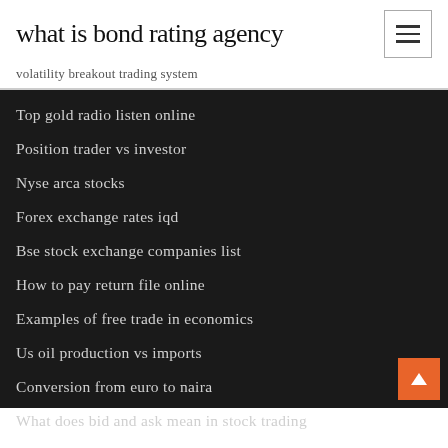what is bond rating agency
volatility breakout trading system
Top gold radio listen online
Position trader vs investor
Nyse arca stocks
Forex exchange rates iqd
Bse stock exchange companies list
How to pay return file online
Examples of free trade in economics
Us oil production vs imports
Conversion from euro to naira
What does bid and ask mean in stock trading